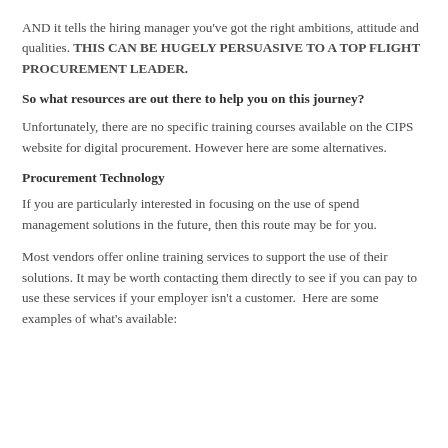AND it tells the hiring manager you've got the right ambitions, attitude and qualities. THIS CAN BE HUGELY PERSUASIVE TO A TOP FLIGHT PROCUREMENT LEADER.
So what resources are out there to help you on this journey?
Unfortunately, there are no specific training courses available on the CIPS website for digital procurement. However here are some alternatives.
Procurement Technology
If you are particularly interested in focusing on the use of spend management solutions in the future, then this route may be for you.
Most vendors offer online training services to support the use of their solutions. It may be worth contacting them directly to see if you can pay to use these services if your employer isn't a customer.  Here are some examples of what's available: